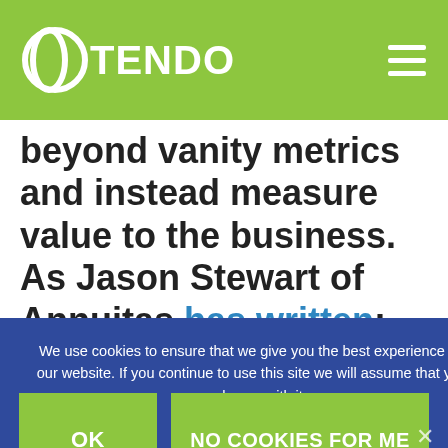OTENDO
beyond vanity metrics and instead measure value to the business. As Jason Stewart of Annuitas has written: “[T]he
We use cookies to ensure that we give you the best experience on our website. If you continue to use this site we will assume that you are happy with it.
OK
NO COOKIES FOR ME
PRIVACY POLICY